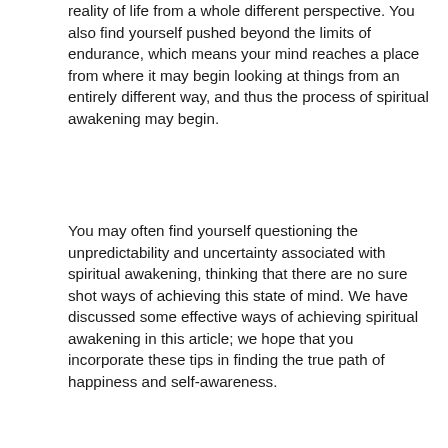reality of life from a whole different perspective. You also find yourself pushed beyond the limits of endurance, which means your mind reaches a place from where it may begin looking at things from an entirely different way, and thus the process of spiritual awakening may begin.
You may often find yourself questioning the unpredictability and uncertainty associated with spiritual awakening, thinking that there are no sure shot ways of achieving this state of mind. We have discussed some effective ways of achieving spiritual awakening in this article; we hope that you incorporate these tips in finding the true path of happiness and self-awareness.